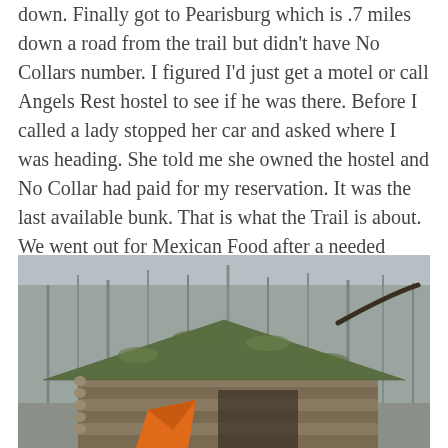down. Finally got to Pearisburg which is .7 miles down a road from the trail but didn't have No Collars number. I figured I'd just get a motel or call Angels Rest hostel to see if he was there. Before I called a lady stopped her car and asked where I was heading. She told me she owned the hostel and No Collar had paid for my reservation. It was the last available bunk. That is what the Trail is about. We went out for Mexican Food after a needed shower. All in all things have gone well but I'm still learning not to mention getting trail legs!
[Figure (photo): A moss-covered wooden log shelter or trail lean-to with a peaked roof, surrounded by bare trees. An orange piece of fabric or clothing hangs over the front of the shelter.]